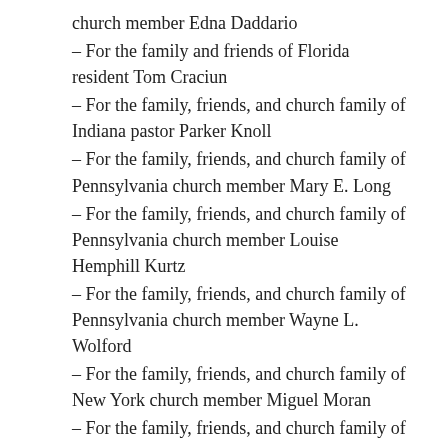church member Edna Daddario
– For the family and friends of Florida resident Tom Craciun
– For the family, friends, and church family of Indiana pastor Parker Knoll
– For the family, friends, and church family of Pennsylvania church member Mary E. Long
– For the family, friends, and church family of Pennsylvania church member Louise Hemphill Kurtz
– For the family, friends, and church family of Pennsylvania church member Wayne L. Wolford
– For the family, friends, and church family of New York church member Miguel Moran
– For the family, friends, and church family of New York church member Daniel Moran
– For the family and friends of Illinois union president Fred Westbrook, Jr.